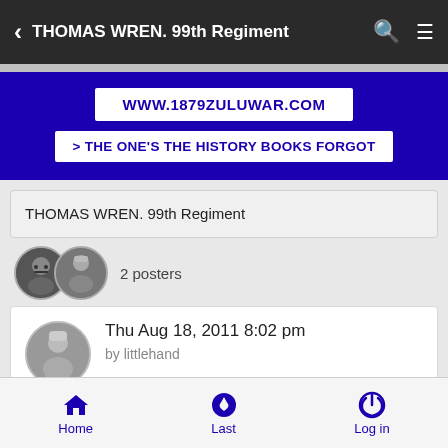THOMAS WREN. 99th Regiment
[Figure (screenshot): Website banner showing WWW.1879ZULUWAR.COM and tagline > THE ONE'S THE HISTORY BOOKS FORGOT on blue background]
THOMAS WREN. 99th Regiment
2 posters
Thu Aug 18, 2011 8:02 pm by littlehand
Home  Last  Log in